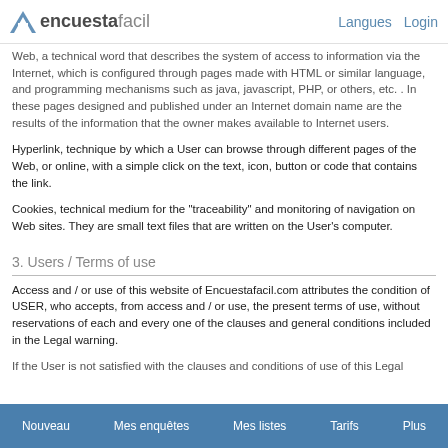encuestafacil   Langues  Login
Web, a technical word that describes the system of access to information via the Internet, which is configured through pages made with HTML or similar language, and programming mechanisms such as java, javascript, PHP, or others, etc. . In these pages designed and published under an Internet domain name are the results of the information that the owner makes available to Internet users.
Hyperlink, technique by which a User can browse through different pages of the Web, or online, with a simple click on the text, icon, button or code that contains the link.
Cookies, technical medium for the "traceability" and monitoring of navigation on Web sites. They are small text files that are written on the User's computer.
3. Users / Terms of use
Access and / or use of this website of Encuestafacil.com attributes the condition of USER, who accepts, from access and / or use, the present terms of use, without reservations of each and every one of the clauses and general conditions included in the Legal warning.
If the User is not satisfied with the clauses and conditions of use of this Legal
Nouveau   Mes enquêtes   Mes listes   Tarifs   Plus